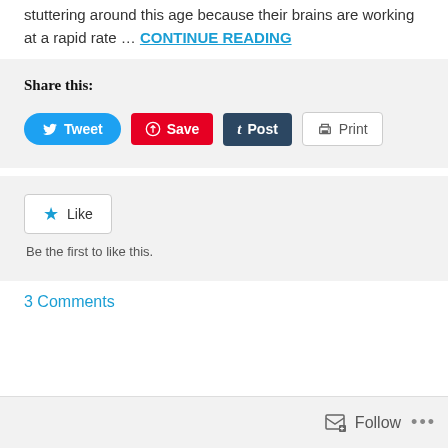stuttering around this age because their brains are working at a rapid rate … CONTINUE READING
Share this:
[Figure (screenshot): Social share buttons: Tweet (Twitter blue), Save (Pinterest red), Post (Tumblr dark), Print (grey outline)]
[Figure (screenshot): Like button widget with star icon and text 'Be the first to like this.']
3 Comments
Follow ...